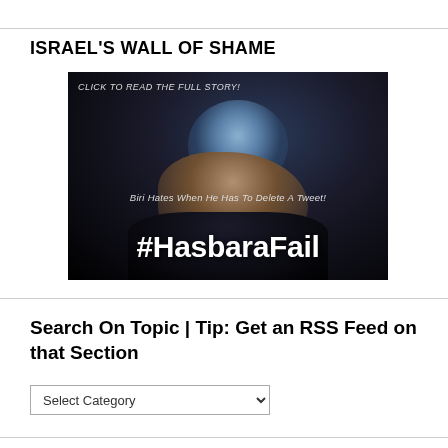ISRAEL'S WALL OF SHAME
[Figure (photo): Photo of a political figure with head resting on hand against dark background. Overlaid text reads 'CLICK TO READ THE FULL STORY!', 'Biri Hates When He Has To Delete A Tweet!', and '#HasbaraFail']
Search On Topic | Tip: Get an RSS Feed on that Section
Select Category